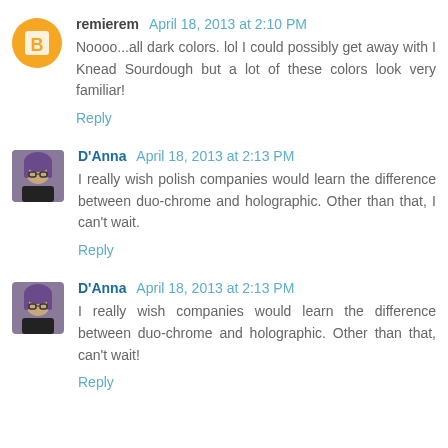remierem April 18, 2013 at 2:10 PM
Noooo...all dark colors. lol I could possibly get away with I Knead Sourdough but a lot of these colors look very familiar!
Reply
D'Anna April 18, 2013 at 2:13 PM
I really wish polish companies would learn the difference between duo-chrome and holographic. Other than that, I can't wait.
Reply
D'Anna April 18, 2013 at 2:13 PM
I really wish companies would learn the difference between duo-chrome and holographic. Other than that, can't wait!
Reply